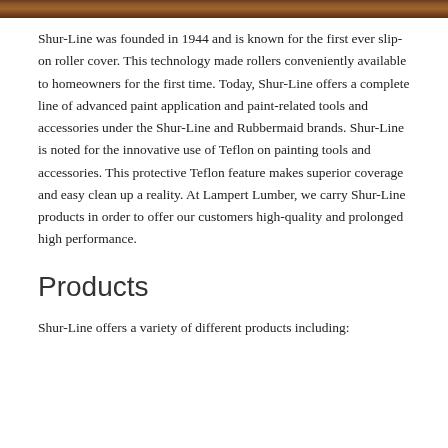[Figure (illustration): Dark brown wood grain horizontal bar at the top of the page]
Shur-Line was founded in 1944 and is known for the first ever slip-on roller cover. This technology made rollers conveniently available to homeowners for the first time. Today, Shur-Line offers a complete line of advanced paint application and paint-related tools and accessories under the Shur-Line and Rubbermaid brands. Shur-Line is noted for the innovative use of Teflon on painting tools and accessories. This protective Teflon feature makes superior coverage and easy clean up a reality. At Lampert Lumber, we carry Shur-Line products in order to offer our customers high-quality and prolonged high performance.
Products
Shur-Line offers a variety of different products including: